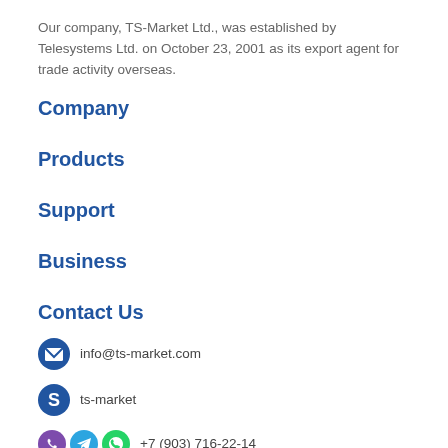Our company, TS-Market Ltd., was established by Telesystems Ltd. on October 23, 2001 as its export agent for trade activity overseas.
Company
Products
Support
Business
Contact Us
info@ts-market.com
ts-market
+7 (903) 716-22-14